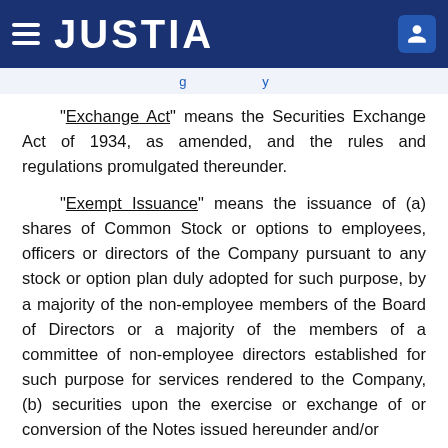JUSTIA
"Exchange Act" means the Securities Exchange Act of 1934, as amended, and the rules and regulations promulgated thereunder.
"Exempt Issuance" means the issuance of (a) shares of Common Stock or options to employees, officers or directors of the Company pursuant to any stock or option plan duly adopted for such purpose, by a majority of the non-employee members of the Board of Directors or a majority of the members of a committee of non-employee directors established for such purpose for services rendered to the Company, (b) securities upon the exercise or exchange of or conversion of the Notes issued hereunder and/or other securities exercisable or exchangeable for